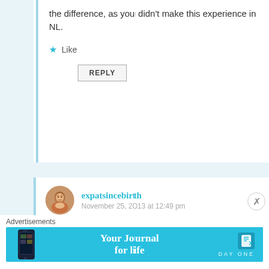the difference, as you didn't make this experience in NL.
Like
REPLY
expatsincebirth
November 25, 2013 at 12:49 pm
Dear Rakael, I did correct the part about the Netherlands. I realized that the Dutch friends I did visit all had small children or worked in the medical sector and were apparently more inclined to this habit because of their profession and
Advertisements
[Figure (infographic): Day One app advertisement banner: 'Your Journal for life' with phone image and Day One logo on teal background]